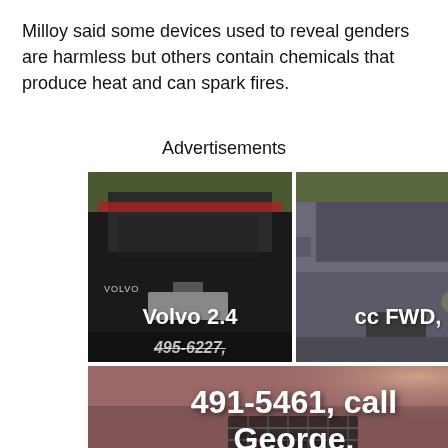Milloy said some devices used to reveal genders are harmless but others contain chemicals that produce heat and can spark fires.
Advertisements
[Figure (photo): Two side-by-side photos of a Volvo car (rear view on left, front view on right) with overlaid white text reading 'Volvo 2.4 cc FWD, 495-6227,' and a third photo below showing the car interior/grille with overlaid white text reading '491-5461, call George.']